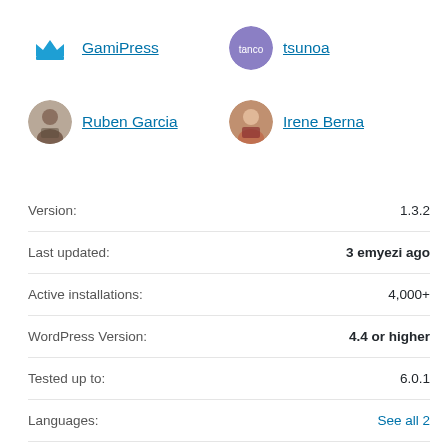[Figure (infographic): Four contributor avatars with links: GamiPress (crown logo), tsunoa (purple circle avatar), Ruben Garcia (photo), Irene Berna (photo)]
| Field | Value |
| --- | --- |
| Version: | 1.3.2 |
| Last updated: | 3 emyezi ago |
| Active installations: | 4,000+ |
| WordPress Version: | 4.4 or higher |
| Tested up to: | 6.0.1 |
| Languages: | See all 2 |
| Tags: | gamification  gamipress  learndash  learning  lms |